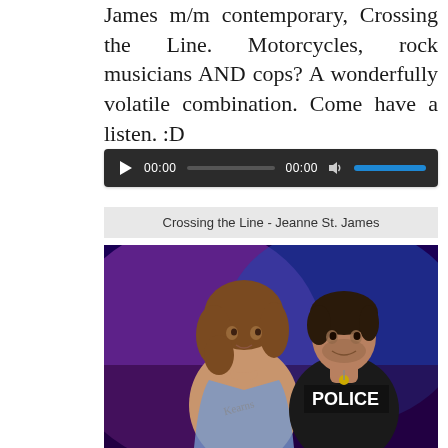James m/m contemporary, Crossing the Line. Motorcycles, rock musicians AND cops? A wonderfully volatile combination. Come have a listen. :D
[Figure (screenshot): Audio player widget with dark background showing play button, time display 00:00, progress bar, volume icon, and blue volume bar]
Crossing the Line - Jeanne St. James
[Figure (photo): Book cover showing two attractive men against a purple and blue background with motorcycles. Left man is shirtless with long curly hair and tattoos holding a jacket. Right man wears a black POLICE t-shirt with a badge necklace.]